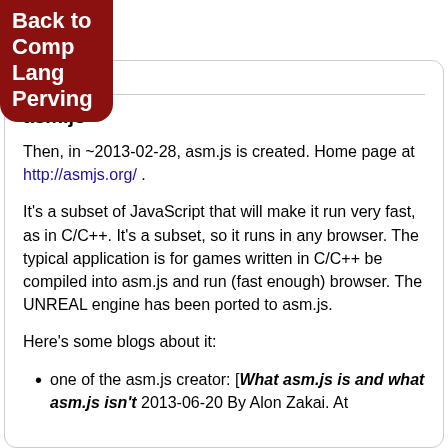Back to Comp Lang Perving
2012-10-02
asm.js
Then, in ~2013-02-28, asm.js is created. Home page at http://asmjs.org/ .
It's a subset of JavaScript that will make it run very fast, as in C/C++. It's a subset, so it runs in any browser. The typical application is for games written in C/C++ be compiled into asm.js and run (fast enough) browser. The UNREAL engine has been ported to asm.js.
Here's some blogs about it:
one of the asm.js creator: [What asm.js is and what asm.js isn't 2013-06-20 By Alon Zakai. At